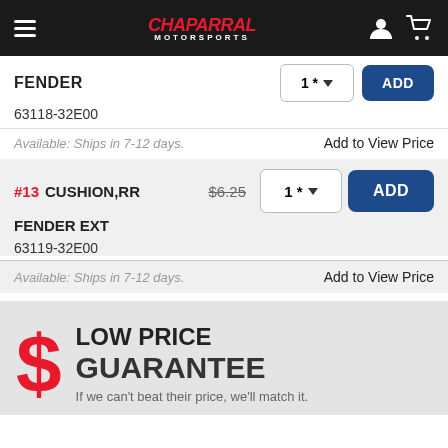[Figure (screenshot): Chaparral Motorsports navigation header with hamburger menu, logo, user icon, and cart icon on dark background]
FENDER
63118-32E00
Available: Ships in 7-12 days.
Add to View Price
#13  CUSHION,RR FENDER EXT  $6.25
63119-32E00
Available: Ships in 7-12 days.
Add to View Price
LOW PRICE GUARANTEE
If we can't beat their price, we'll match it.